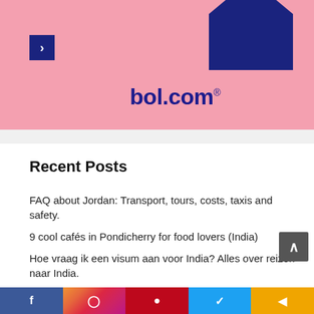[Figure (photo): Pink background advertisement banner for bol.com with a dark blue backpack visible at top right, a blue navigation arrow button on the left, and bol.com logo in dark blue text with registered trademark symbol]
Recent Posts
FAQ about Jordan: Transport, tours, costs, taxis and safety.
9 cool cafés in Pondicherry for food lovers (India)
Hoe vraag ik een visum aan voor India? Alles over reizen naar India.
A must-do: Bicycle tour in Pondicherry (India)
Living and working in Florida: Sun, sea, beach and hurricanes
f  Instagram  Pinterest  Twitter  share